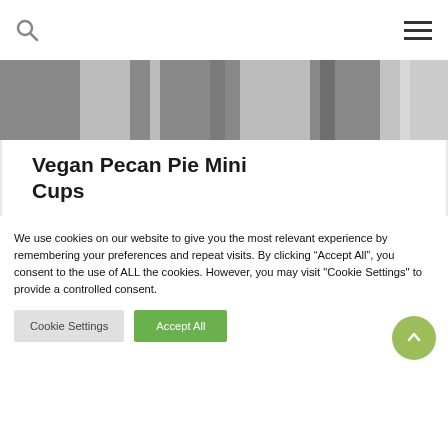[Figure (photo): Top portion of a food photo showing a black and white checkered cloth/napkin with some food items]
Vegan Pecan Pie Mini Cups
Vegan Pecan Pie Mini Cups
We use cookies on our website to give you the most relevant experience by remembering your preferences and repeat visits. By clicking “Accept All”, you consent to the use of ALL the cookies. However, you may visit "Cookie Settings" to provide a controlled consent.
Cookie Settings   Accept All